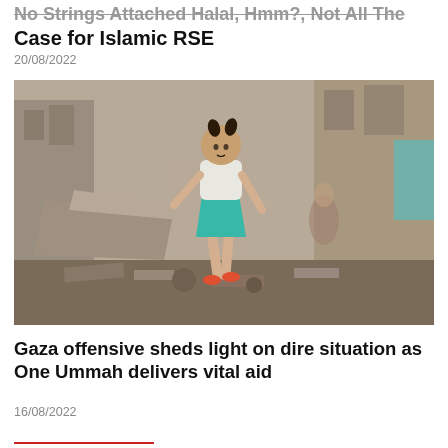No Strings Attached Halal, Hmm?, Not All The Case for Islamic RSE
20/08/2022
[Figure (photo): A young girl in a teal skirt and white top walks through rubble and debris in a destroyed urban area, with damaged buildings in the background.]
Gaza offensive sheds light on dire situation as One Ummah delivers vital aid
16/08/2022